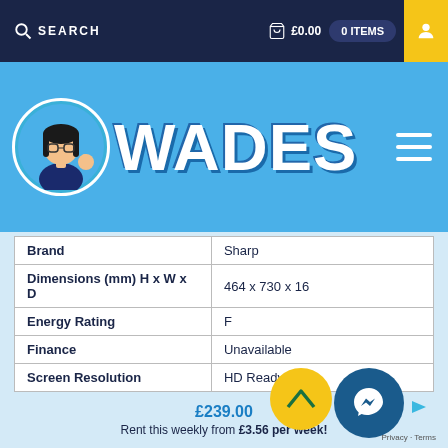SEARCH   £0.00   0 ITEMS
[Figure (logo): Wades shop header with cartoon mascot logo and WADES text on blue background]
| Attribute | Value |
| --- | --- |
| Brand | Sharp |
| Dimensions (mm) H x W x D | 464 x 730 x 16 |
| Energy Rating | F |
| Finance | Unavailable |
| Screen Resolution | HD Ready |
| Screen Size (Inches) | 32 |
| Tv Features | Smart - Android |
| Type | LED |
| Warranty | 1 Year |
£239.00
Rent this weekly from £3.56 per week!